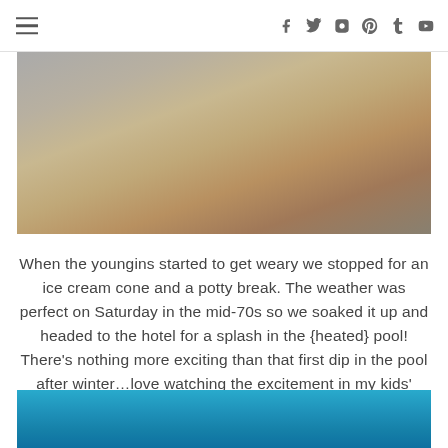≡  f  t  IG   Pinterest  t  YouTube
[Figure (photo): Cropped photo showing person's legs in denim shorts standing on a sidewalk/paving stones]
When the youngins started to get weary we stopped for an ice cream cone and a potty break. The weather was perfect on Saturday in the mid-70s so we soaked it up and headed to the hotel for a splash in the {heated} pool! There's nothing more exciting than that first dip in the pool after winter…love watching the excitement in my kids' faces.
[Figure (photo): Bottom portion of a blue swimming pool with rippling water visible]